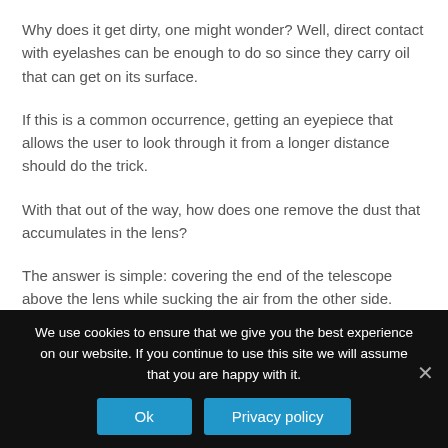Why does it get dirty, one might wonder? Well, direct contact with eyelashes can be enough to do so since they carry oil that can get on its surface.
If this is a common occurrence, getting an eyepiece that allows the user to look through it from a longer distance should do the trick.
With that out of the way, how does one remove the dust that accumulates in the lens?
The answer is simple: covering the end of the telescope above the lens while sucking the air from the other side.
We use cookies to ensure that we give you the best experience on our website. If you continue to use this site we will assume that you are happy with it.